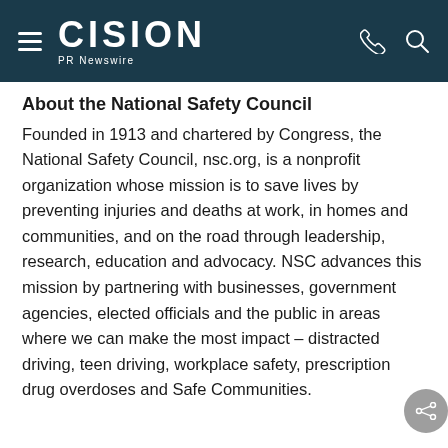CISION PR Newswire
About the National Safety Council
Founded in 1913 and chartered by Congress, the National Safety Council, nsc.org, is a nonprofit organization whose mission is to save lives by preventing injuries and deaths at work, in homes and communities, and on the road through leadership, research, education and advocacy. NSC advances this mission by partnering with businesses, government agencies, elected officials and the public in areas where we can make the most impact – distracted driving, teen driving, workplace safety, prescription drug overdoses and Safe Communities.
Connect with NSC: